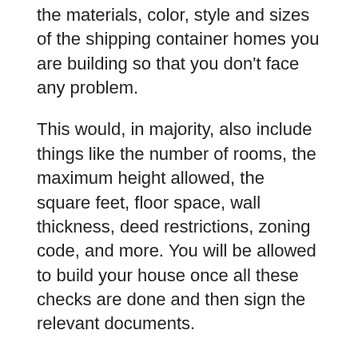the materials, color, style and sizes of the shipping container homes you are building so that you don't face any problem.
This would, in majority, also include things like the number of rooms, the maximum height allowed, the square feet, floor space, wall thickness, deed restrictions, zoning code, and more. You will be allowed to build your house once all these checks are done and then sign the relevant documents.
The next thing is checking the information regarding the site offsite with the neighbor's property and how far it is from it. And they will check whether the ground level depth and height is safe from environmental hazards like floods and other natural disasters.
All other details for example, like the type of plants